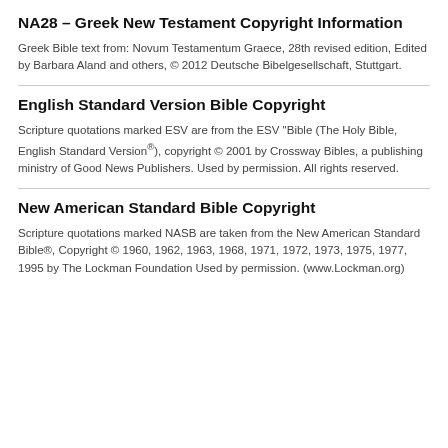NA28 – Greek New Testament Copyright Information
Greek Bible text from: Novum Testamentum Graece, 28th revised edition, Edited by Barbara Aland and others, © 2012 Deutsche Bibelgesellschaft, Stuttgart.
English Standard Version Bible Copyright
Scripture quotations marked ESV are from the ESV "Bible (The Holy Bible, English Standard Version®), copyright © 2001 by Crossway Bibles, a publishing ministry of Good News Publishers. Used by permission. All rights reserved.
New American Standard Bible Copyright
Scripture quotations marked NASB are taken from the New American Standard Bible®, Copyright © 1960, 1962, 1963, 1968, 1971, 1972, 1973, 1975, 1977, 1995 by The Lockman Foundation Used by permission. (www.Lockman.org)